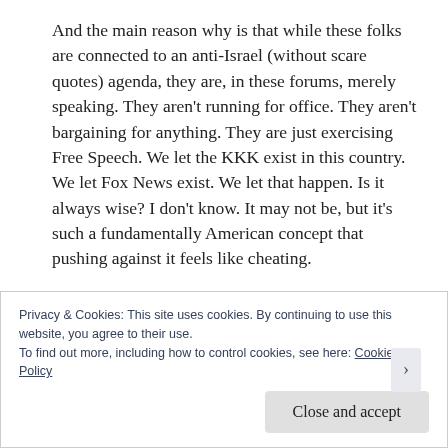And the main reason why is that while these folks are connected to an anti-Israel (without scare quotes) agenda, they are, in these forums, merely speaking. They aren't running for office. They aren't bargaining for anything. They are just exercising Free Speech. We let the KKK exist in this country. We let Fox News exist. We let that happen. Is it always wise? I don't know. It may not be, but it's such a fundamentally American concept that pushing against it feels like cheating.
The Israel and Palestine debate has gotten so
Privacy & Cookies: This site uses cookies. By continuing to use this website, you agree to their use.
To find out more, including how to control cookies, see here: Cookie Policy